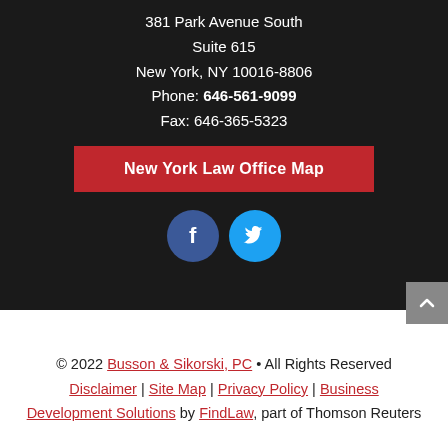381 Park Avenue South
Suite 615
New York, NY 10016-8806
Phone: 646-561-9099
Fax: 646-365-5323
New York Law Office Map
[Figure (illustration): Facebook and Twitter social media icon circles — blue Facebook icon and cyan Twitter bird icon]
© 2022 Busson & Sikorski, PC • All Rights Reserved
Disclaimer | Site Map | Privacy Policy | Business Development Solutions by FindLaw, part of Thomson Reuters